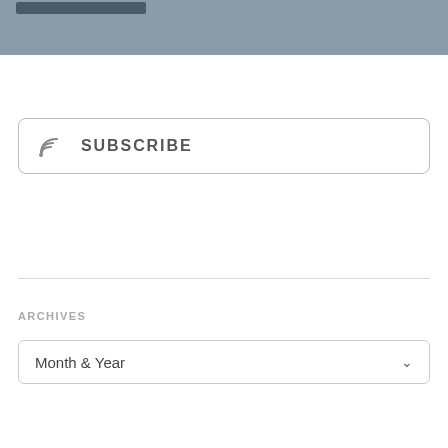[Figure (screenshot): Top portion of a website sidebar showing a grey banner image with a dark rectangular element in the upper left corner]
SUBSCRIBE
ARCHIVES
Month & Year